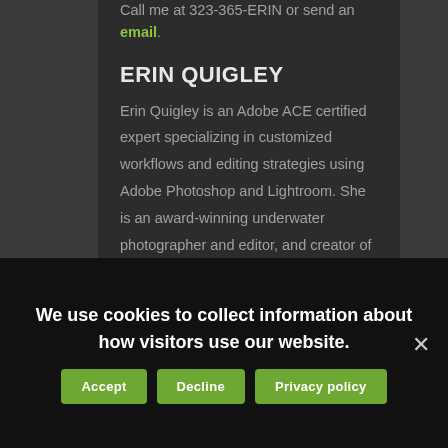Call me at 323-365-ERIN or send an email.
ERIN QUIGLEY
Erin Quigley is an Adobe ACE certified expert specializing in customized workflows and editing strategies using Adobe Photoshop and Lightroom. She is an award-winning underwater photographer and editor, and creator of GoAskErin.com, which provides one-on-one instruction,
We use cookies to collect information about how visitors use our website.
Accept
Decline
Privacy policy